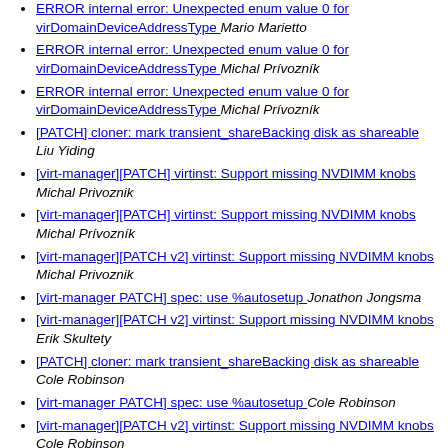ERROR internal error: Unexpected enum value 0 for virDomainDeviceAddressType  Mario Marietto
ERROR internal error: Unexpected enum value 0 for virDomainDeviceAddressType  Michal Prívozník
ERROR internal error: Unexpected enum value 0 for virDomainDeviceAddressType  Michal Prívozník
[PATCH] cloner: mark transient_shareBacking disk as shareable  Liu Yiding
[virt-manager][PATCH] virtinst: Support missing NVDIMM knobs  Michal Privoznik
[virt-manager][PATCH] virtinst: Support missing NVDIMM knobs  Michal Prívozník
[virt-manager][PATCH v2] virtinst: Support missing NVDIMM knobs  Michal Privoznik
[virt-manager PATCH] spec: use %autosetup  Jonathon Jongsma
[virt-manager][PATCH v2] virtinst: Support missing NVDIMM knobs  Erik Skultety
[PATCH] cloner: mark transient_shareBacking disk as shareable  Cole Robinson
[virt-manager PATCH] spec: use %autosetup  Cole Robinson
[virt-manager][PATCH v2] virtinst: Support missing NVDIMM knobs  Cole Robinson
[virt-tools-list][virt-manager 0/8] filesystem: Add support for...